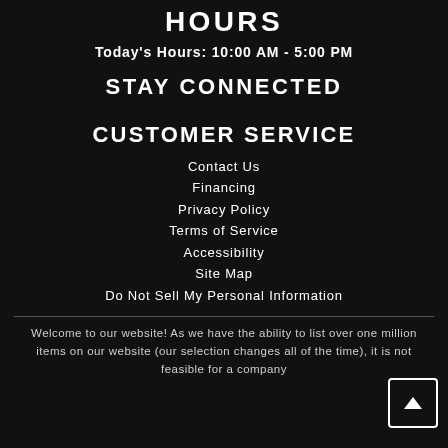HOURS
Today's Hours: 10:00 AM - 5:00 PM
STAY CONNECTED
[Figure (illustration): Social media icons: Facebook (f), Instagram (camera), Yelp (asterisk/star)]
CUSTOMER SERVICE
Contact Us
Financing
Privacy Policy
Terms of Service
Accessibility
Site Map
Do Not Sell My Personal Information
Welcome to our website! As we have the ability to list over one million items on our website (our selection changes all of the time), it is not feasible for a company